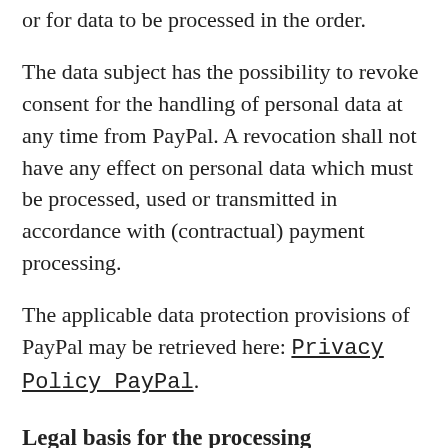or for data to be processed in the order.
The data subject has the possibility to revoke consent for the handling of personal data at any time from PayPal. A revocation shall not have any effect on personal data which must be processed, used or transmitted in accordance with (contractual) payment processing.
The applicable data protection provisions of PayPal may be retrieved here: Privacy Policy PayPal.
Legal basis for the processing
Art. 6(1) lit. a GDPR serves as the legal basis for processing operations for which we